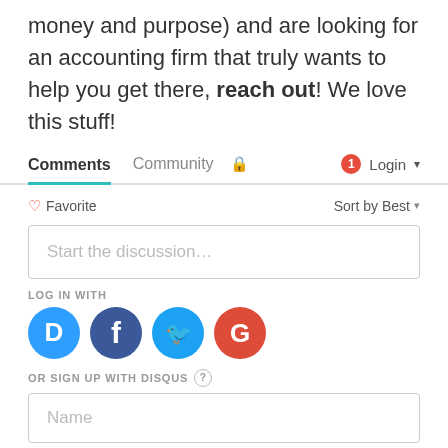money and purpose) and are looking for an accounting firm that truly wants to help you get there, reach out! We love this stuff!
Comments   Community   🔒   1   Login
♡ Favorite   Sort by Best
Start the discussion…
LOG IN WITH
[Figure (logo): Social login icons: Disqus (blue), Facebook (dark blue), Twitter (light blue), Google (red)]
OR SIGN UP WITH DISQUS ?
Name